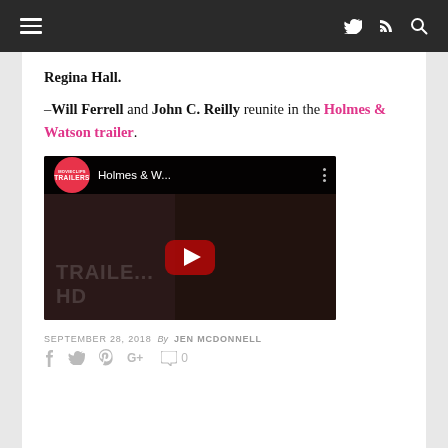Navigation bar with hamburger menu, Twitter, RSS, and search icons
Regina Hall.
–Will Ferrell and John C. Reilly reunite in the Holmes & Watson trailer.
[Figure (screenshot): YouTube video thumbnail showing Holmes & Watson trailer with TRAILERS badge, play button, video title 'Holmes & W...' and background movie imagery]
SEPTEMBER 28, 2018  By JEN MCDONNELL
Social share icons: Facebook, Twitter, Pinterest, Google+, comment bubble with 0